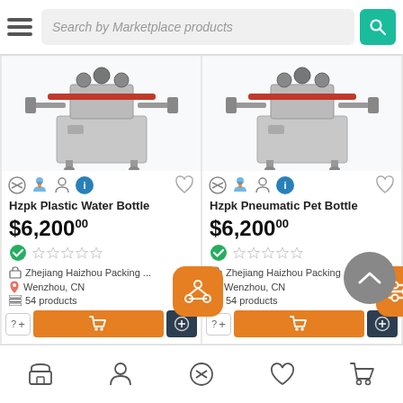[Figure (screenshot): Marketplace app header with hamburger menu, search bar reading 'Search by Marketplace products', and teal search button with magnifier icon]
[Figure (photo): Hzpk Plastic Water Bottle capping machine product image on white background]
Hzpk Plastic Water Bottle
$6,200.00
Zhejiang Haizhou Packing ...
Wenzhou, CN
54 products
[Figure (photo): Hzpk Pneumatic Pet Bottle capping machine product image on white background]
Hzpk Pneumatic Pet Bottle
$6,200.00
Zhejiang Haizhou Packing ...
Wenzhou, CN
54 products